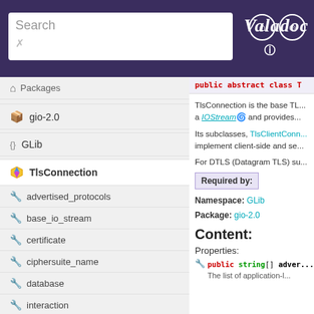Valadoc — Search header with navigation
Packages
gio-2.0
GLib
TlsConnection
advertised_protocols
base_io_stream
certificate
ciphersuite_name
database
interaction
negotiated_protocol
public abstract class [TlsConnection]
TlsConnection is the base TL... a IOStream and provides...
Its subclasses, TlsClientConn... implement client-side and se...
For DTLS (Datagram TLS) su...
Required by:
Namespace: GLib
Package: gio-2.0
Content:
Properties:
public string[] adver...
The list of application-l...